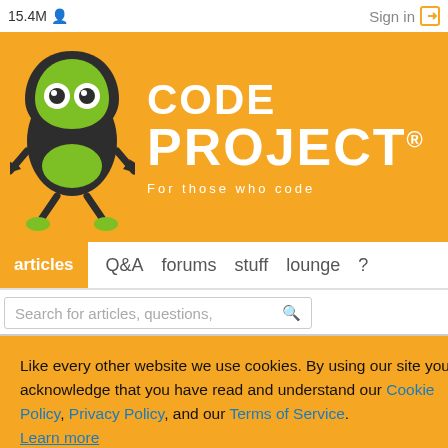15.4M  Sign in
[Figure (logo): CodeProject logo with green mascot character and orange banner. Text: CODE PROJECT For those who code]
articles  Q&A  forums  stuff  lounge  ?
Search for articles, questions,
Like every other website we use cookies. By using our site you acknowledge that you have read and understand our Cookie Policy, Privacy Policy, and our Terms of Service. Learn more
Ask me later   Decline   Allow cookies
4.98/5 (481 votes)
eral features of